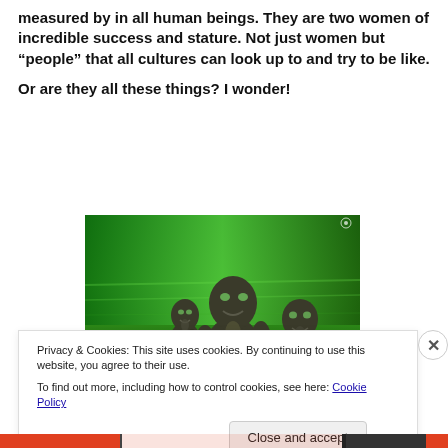measured by in all human beings. They are two women of incredible success and stature. Not just women but “people” that all cultures can look up to and try to be like.
Or are they all these things? I wonder!
[Figure (photo): Three dark, stone-like humanoid alien figures against a bright green background.]
Privacy & Cookies: This site uses cookies. By continuing to use this website, you agree to their use.
To find out more, including how to control cookies, see here: Cookie Policy
Close and accept